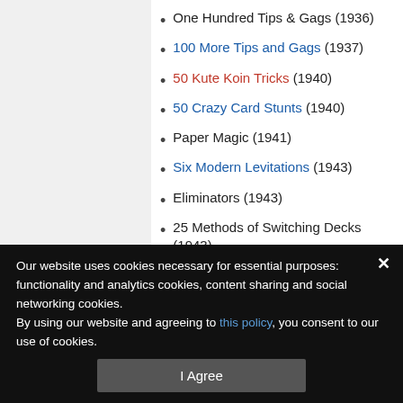One Hundred Tips & Gags (1936)
100 More Tips and Gags (1937)
50 Kute Koin Tricks (1940)
50 Crazy Card Stunts (1940)
Paper Magic (1941)
Six Modern Levitations (1943)
Eliminators (1943)
25 Methods of Switching Decks (1943)
Grant's Secrets (1943)
Grant's Volume One (1944)
25 Telephone Card Tricks (1945)
C.L.I.D. (Clever Little Ideas...
Our website uses cookies necessary for essential purposes: functionality and analytics cookies, content sharing and social networking cookies.
By using our website and agreeing to this policy, you consent to our use of cookies.